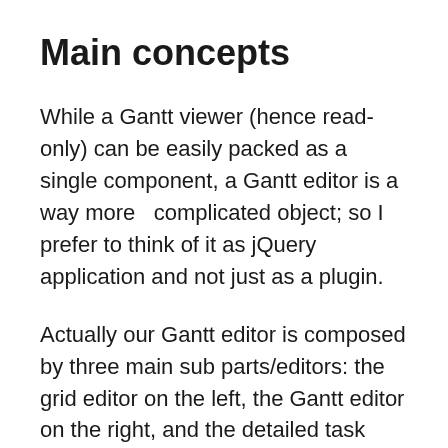Main concepts
While a Gantt viewer (hence read-only) can be easily packed as a single component, a Gantt editor is a way more  complicated object; so I prefer to think of it as jQuery application and not just as a plugin.
Actually our Gantt editor is composed by three main sub parts/editors: the grid editor on the left, the Gantt editor on the right, and the detailed task editor in popup; actually the popup editor is used also for resources and assignments.
The goal of our editor is to generate a json file